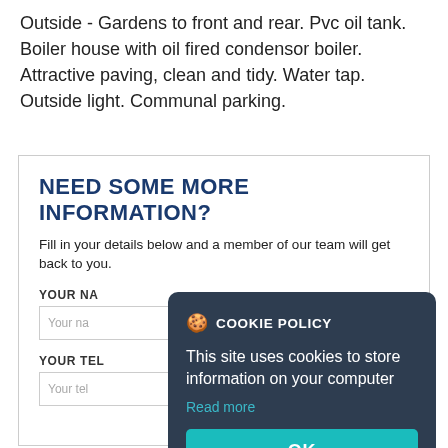Outside - Gardens to front and rear.  Pvc oil tank.  Boiler house with oil fired condensor boiler. Attractive paving, clean and tidy.  Water tap. Outside light.  Communal parking.
NEED SOME MORE INFORMATION?
Fill in your details below and a member of our team will get back to you.
YOUR NAME
Your na
YOUR TEL
Your tel
[Figure (screenshot): Cookie policy popup dialog with title 'COOKIE POLICY', text 'This site uses cookies to store information on your computer', a 'Read more' link, and an 'OK' button on a dark background.]